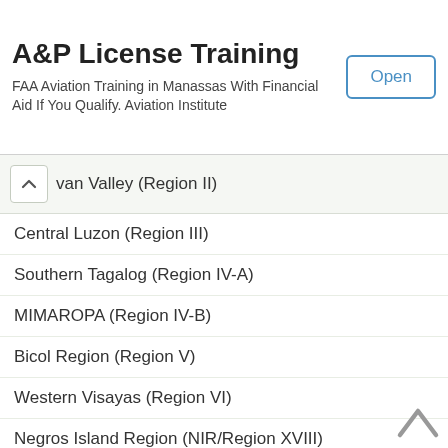[Figure (screenshot): Advertisement banner for A&P License Training with Open button]
van Valley (Region II)
Central Luzon (Region III)
Southern Tagalog (Region IV-A)
MIMAROPA (Region IV-B)
Bicol Region (Region V)
Western Visayas (Region VI)
Negros Island Region (NIR/Region XVIII)
Central Visayas – Region VII
Eastern Visayas – Region VIII
Northern Mindanao
Southern Mindanao